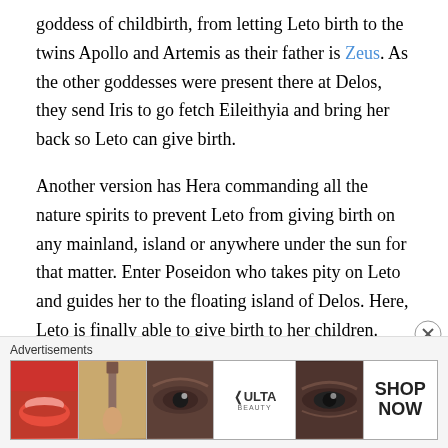goddess of childbirth, from letting Leto birth to the twins Apollo and Artemis as their father is Zeus. As the other goddesses were present there at Delos, they send Iris to go fetch Eileithyia and bring her back so Leto can give birth.
Another version has Hera commanding all the nature spirits to prevent Leto from giving birth on any mainland, island or anywhere under the sun for that matter. Enter Poseidon who takes pity on Leto and guides her to the floating island of Delos. Here, Leto is finally able to give birth to her children. Afterword, Zeus secures Delos to the bottom of the sea.
[Figure (other): Ulta Beauty advertisement banner with makeup imagery including lips, makeup brush, eye, Ulta logo, eye makeup, and Shop Now button]